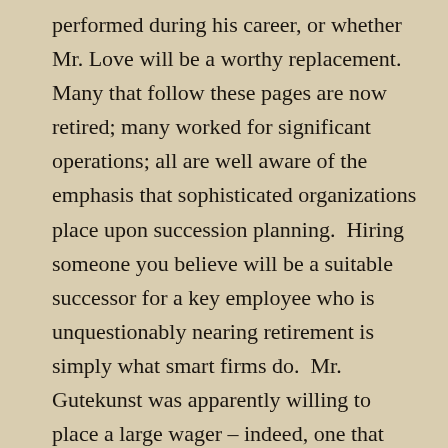performed during his career, or whether Mr. Love will be a worthy replacement. Many that follow these pages are now retired; many worked for significant operations; all are well aware of the emphasis that sophisticated organizations place upon succession planning. Hiring someone you believe will be a suitable successor for a key employee who is unquestionably nearing retirement is simply what smart firms do. Mr. Gutekunst was apparently willing to place a large wager – indeed, one that may well determine his professional destiny – on his selection of Mr. Love. Despite my